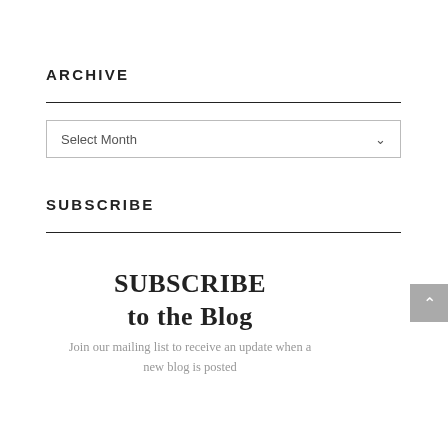ARCHIVE
[Figure (other): Dropdown selector labeled 'Select Month' with a chevron arrow on the right]
SUBSCRIBE
SUBSCRIBE to the Blog
Join our mailing list to receive an update when a new blog is posted